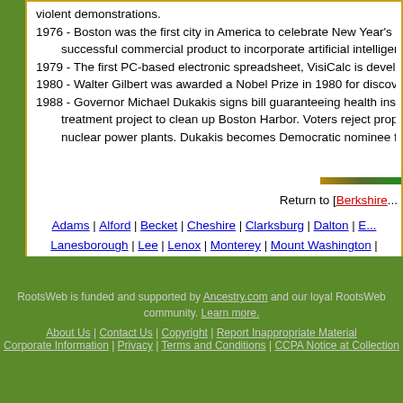violent demonstrations.
1976 - Boston was the first city in America to celebrate New Year's Eve w... successful commercial product to incorporate artificial intelligence to crea...
1979 - The first PC-based electronic spreadsheet, VisiCalc is developed b...
1980 - Walter Gilbert was awarded a Nobel Prize in 1980 for discovering...
1988 - Governor Michael Dukakis signs bill guaranteeing health insurance... treatment project to clean up Boston Harbor. Voters reject proposal to sh... nuclear power plants. Dukakis becomes Democratic nominee for preside...
Return to [Berkshire...
Adams | Alford | Becket | Cheshire | Clarksburg | Dalton | E... Lanesborough | Lee | Lenox | Monterey | Mount Washington |... Pittsfield | Richmond | Sandisfield | Savoy | Sheffield | S... Williamstow...
© Copyrighted from 1995 to present fo...
RootsWeb is funded and supported by Ancestry.com and our loyal RootsWeb community. Learn more.
About Us | Contact Us | Copyright | Report Inappropriate Material Corporate Information | Privacy | Terms and Conditions | CCPA Notice at Collection